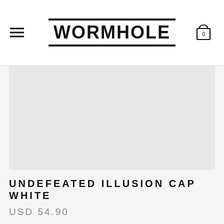WORMHOLE
[Figure (photo): Product image placeholder — light gray rectangle showing product area for Undefeated Illusion Cap White]
UNDEFEATED ILLUSION CAP WHITE
USD 54.90
In stock